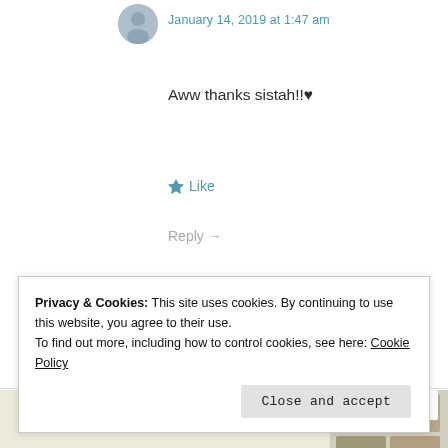[Figure (photo): Small circular avatar photo of a person]
January 14, 2019 at 1:47 am
Aww thanks sistah!!♥
★ Like
Reply →
[Figure (screenshot): Advertisement banner with green 'Explore options' button and food/app imagery on a beige background]
Privacy & Cookies: This site uses cookies. By continuing to use this website, you agree to their use.
To find out more, including how to control cookies, see here: Cookie Policy
Close and accept